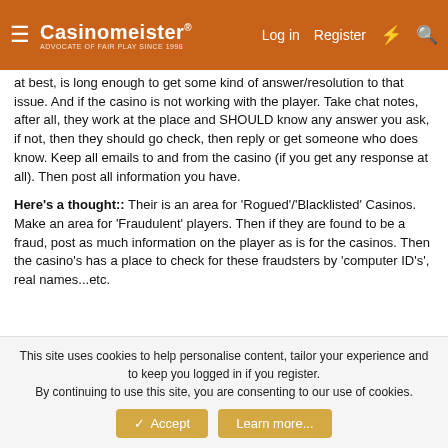Casinomeister® | Log in | Register
at best, is long enough to get some kind of answer/resolution to that issue. And if the casino is not working with the player. Take chat notes, after all, they work at the place and SHOULD know any answer you ask, if not, then they should go check, then reply or get someone who does know. Keep all emails to and from the casino (if you get any response at all). Then post all information you have.
Here's a thought:: Their is an area for 'Rogued'/'Blacklisted' Casinos. Make an area for 'Fraudulent' players. Then if they are found to be a fraud, post as much information on the player as is for the casinos. Then the casino's has a place to check for these fraudsters by 'computer ID's', real names...etc.
This site uses cookies to help personalise content, tailor your experience and to keep you logged in if you register.
By continuing to use this site, you are consenting to our use of cookies.